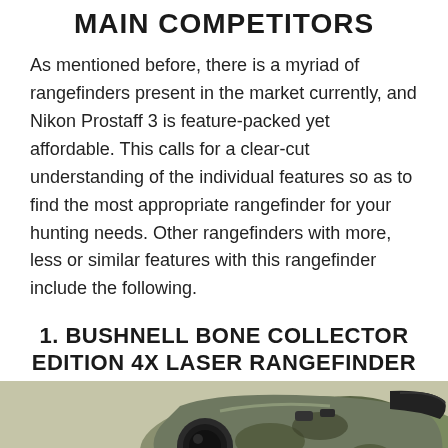MAIN COMPETITORS
As mentioned before, there is a myriad of rangefinders present in the market currently, and Nikon Prostaff 3 is feature-packed yet affordable. This calls for a clear-cut understanding of the individual features so as to find the most appropriate rangefinder for your hunting needs. Other rangefinders with more, less or similar features with this rangefinder include the following.
1. BUSHNELL BONE COLLECTOR EDITION 4X LASER RANGEFINDER
[Figure (photo): Photo of a camouflage-patterned laser rangefinder device (Bushnell Bone Collector Edition), partially visible at the bottom of the page]